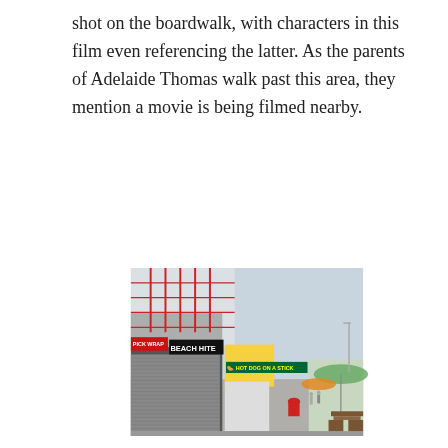shot on the boardwalk, with characters in this film even referencing the latter. As the parents of Adelaide Thomas walk past this area, they mention a movie is being filmed nearby.
[Figure (photo): A photo of a boardwalk area with closed roller shutters on storefronts on the left, a large roller coaster structure in the upper left, and food stalls including a 'HOT DOG ON A STICK' stand in the center. There is a picnic table in the lower right, umbrellas, and an overcast sky. Signs reading 'PICK WRAP' and 'BEACH HITE' are visible.]